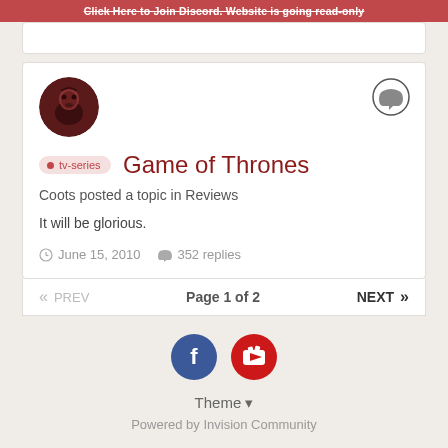Click Here to Join Discord. Website is going read-only
Game of Thrones
Coots posted a topic in Reviews
It will be glorious.
June 15, 2010   352 replies
« PREV   Page 1 of 2   NEXT »
Theme ▼
Powered by Invision Community